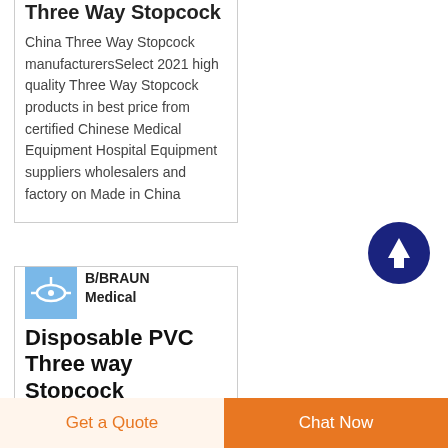Three Way Stopcock
China Three Way Stopcock manufacturersSelect 2021 high quality Three Way Stopcock products in best price from certified Chinese Medical Equipment Hospital Equipment suppliers wholesalers and factory on Made in China
[Figure (other): Scroll-to-top circular button with upward arrow, dark navy blue background]
[Figure (photo): Small thumbnail photo of a PVC three way stopcock medical product, blue tones]
B/BRAUN Medical Disposable PVC Three way Stopcock
Medical Disposable Sterile
Get a Quote
Chat Now